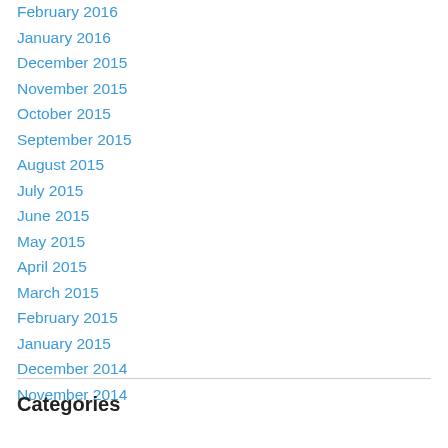February 2016
January 2016
December 2015
November 2015
October 2015
September 2015
August 2015
July 2015
June 2015
May 2015
April 2015
March 2015
February 2015
January 2015
December 2014
November 2014
Categories